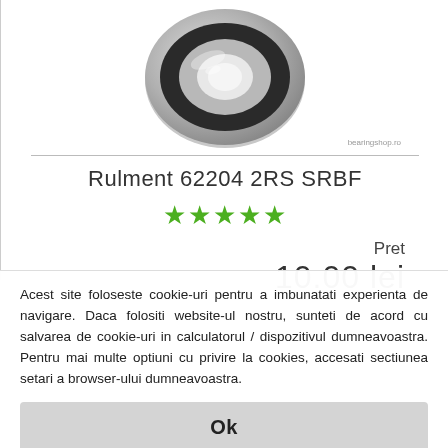[Figure (photo): Ball bearing product photo — Rulment 62204 2RS SRBF, metallic silver and black rubber sealed ball bearing, top-down angled view. Watermark: bearingshop.ro]
Rulment 62204 2RS SRBF
[Figure (other): 5 green star rating icons]
Pret
10.00 lei
Acest site foloseste cookie-uri pentru a imbunatati experienta de navigare. Daca folositi website-ul nostru, sunteti de acord cu salvarea de cookie-uri in calculatorul / dispozitivul dumneavoastra. Pentru mai multe optiuni cu privire la cookies, accesati sectiunea setari a browser-ului dumneavoastra.
Ok